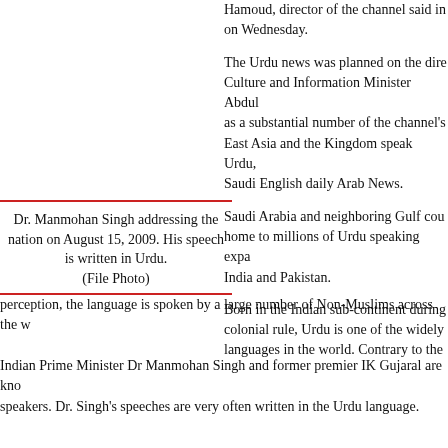Hamoud, director of the channel said in on Wednesday.
The Urdu news was planned on the dire Culture and Information Minister Abdul as a substantial number of the channel's East Asia and the Kingdom speak Urdu, Saudi English daily Arab News.
Saudi Arabia and neighboring Gulf cou home to millions of Urdu speaking expa India and Pakistan.
Dr. Manmohan Singh addressing the nation on August 15, 2009. His speech is written in Urdu.
(File Photo)
Born in the Indian sub-continent during colonial rule, Urdu is one of the widely languages in the world. Contrary to the perception, the language is spoken by a large number of Non-Muslims across the w
Indian Prime Minister Dr Manmohan Singh and former premier IK Gujaral are kno speakers. Dr. Singh's speeches are very often written in the Urdu language.